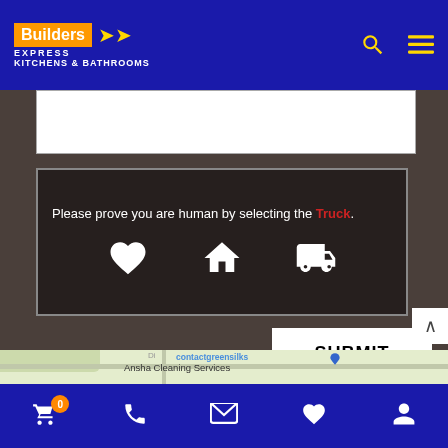[Figure (screenshot): Builders Express Kitchens & Bathrooms website header with logo, search icon, and hamburger menu on blue background]
[Figure (screenshot): CAPTCHA challenge widget with text 'Please prove you are human by selecting the Truck.' and three white icons: heart, house, truck]
SUBMIT
Compare Products
[Figure (map): Google Maps snippet showing Ansha Cleaning Services on Myrtle St, Kids' Early Learning, and contactgreensilks locations]
[Figure (screenshot): Bottom navigation bar with cart (badge 0), phone, email, heart, and user icons on blue background]